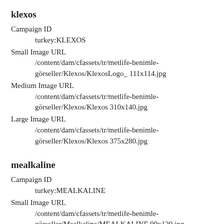klexos
Campaign ID
        turkey:KLEXOS
Small Image URL
        /content/dam/cfassets/tr/metlife-benimle-görseller/Klexos/KlexosLogo_ 111x114.jpg
Medium Image URL
        /content/dam/cfassets/tr/metlife-benimle-görseller/Klexos/Klexos 310x140.jpg
Large Image URL
        /content/dam/cfassets/tr/metlife-benimle-görseller/Klexos/Klexos 375x280.jpg
mealkaline
Campaign ID
        turkey:MEALKALINE
Small Image URL
        /content/dam/cfassets/tr/metlife-benimle-görseller/Mealkaline/MEALKALINE 90x120.jpg
Medium Image URL
        /content/dam/cfassets/tr/metlife-benimle-görseller/Mealkaline/Mealkaline_310x140px_.jpg